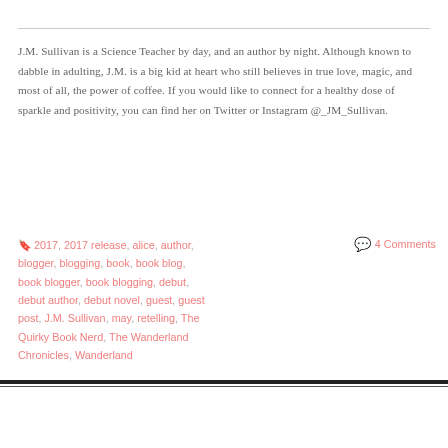J.M. Sullivan is a Science Teacher by day, and an author by night. Although known to dabble in adulting, J.M. is a big kid at heart who still believes in true love, magic, and most of all, the power of coffee. If you would like to connect for a healthy dose of sparkle and positivity, you can find her on Twitter or Instagram @_JM_Sullivan.
2017, 2017 release, alice, author, blogger, blogging, book, book blog, book blogger, book blogging, debut, debut author, debut novel, guest, guest post, J.M. Sullivan, may, retelling, The Quirky Book Nerd, The Wanderland Chronicles, Wanderland
4 Comments